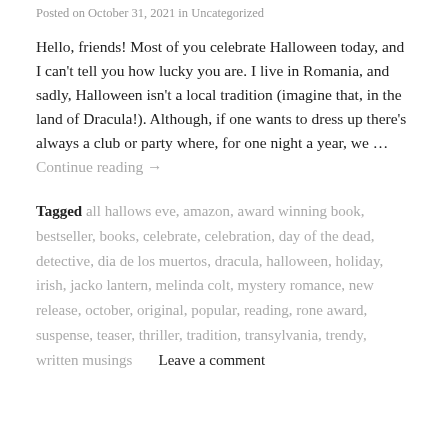Posted on October 31, 2021 in Uncategorized
Hello, friends! Most of you celebrate Halloween today, and I can't tell you how lucky you are. I live in Romania, and sadly, Halloween isn't a local tradition (imagine that, in the land of Dracula!).  Although, if one wants to dress up there's always a club or party where, for one night a year, we … Continue reading →
Tagged all hallows eve, amazon, award winning book, bestseller, books, celebrate, celebration, day of the dead, detective, dia de los muertos, dracula, halloween, holiday, irish, jacko lantern, melinda colt, mystery romance, new release, october, original, popular, reading, rone award, suspense, teaser, thriller, tradition, transylvania, trendy, written musings      Leave a comment